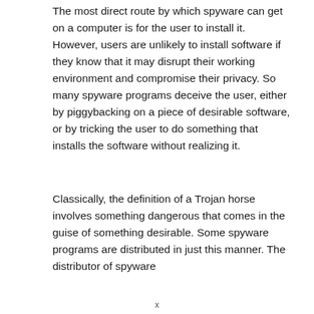The most direct route by which spyware can get on a computer is for the user to install it. However, users are unlikely to install software if they know that it may disrupt their working environment and compromise their privacy. So many spyware programs deceive the user, either by piggybacking on a piece of desirable software, or by tricking the user to do something that installs the software without realizing it.
Classically, the definition of a Trojan horse involves something dangerous that comes in the guise of something desirable. Some spyware programs are distributed in just this manner. The distributor of spyware
x